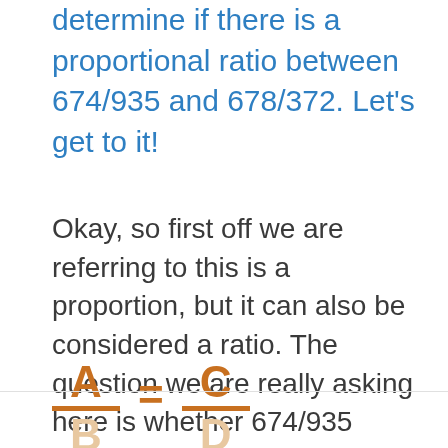determine if there is a proportional ratio between 674/935 and 678/372. Let's get to it!
Okay, so first off we are referring to this is a proportion, but it can also be considered a ratio. The question we are really asking here is whether 674/935 equals 678/372 in a different proportion. Let's look at it visually and use letters to explain how proportions work: